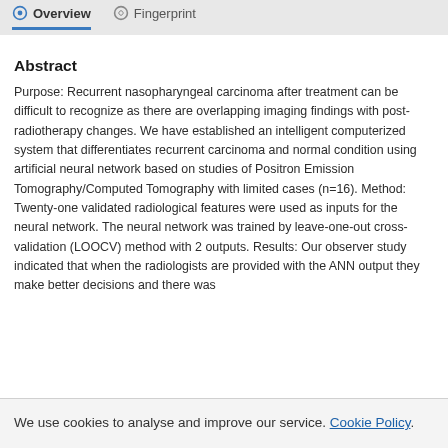Overview  Fingerprint
Abstract
Purpose: Recurrent nasopharyngeal carcinoma after treatment can be difficult to recognize as there are overlapping imaging findings with post-radiotherapy changes. We have established an intelligent computerized system that differentiates recurrent carcinoma and normal condition using artificial neural network based on studies of Positron Emission Tomography/Computed Tomography with limited cases (n=16). Method: Twenty-one validated radiological features were used as inputs for the neural network. The neural network was trained by leave-one-out cross-validation (LOOCV) method with 2 outputs. Results: Our observer study indicated that when the radiologists are provided with the ANN output they make better decisions and there was
We use cookies to analyse and improve our service. Cookie Policy